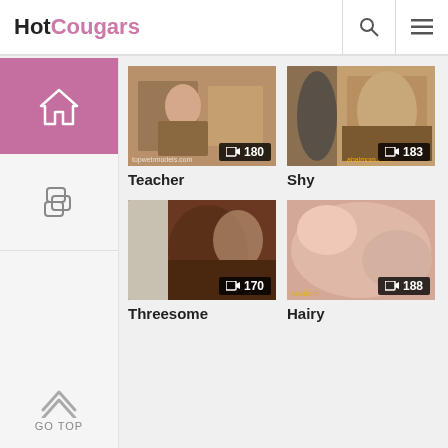HotCougars
[Figure (screenshot): Teacher category thumbnail with video count 180]
Teacher
[Figure (screenshot): Shy category thumbnail with video count 183]
Shy
[Figure (screenshot): Threesome category thumbnail with video count 170]
Threesome
[Figure (screenshot): Hairy category thumbnail with video count 188]
Hairy